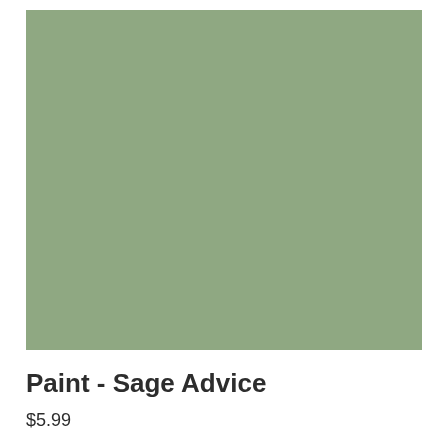[Figure (illustration): A large solid sage green color swatch rectangle, muted green color approximately #8fa882]
Paint - Sage Advice
$5.99